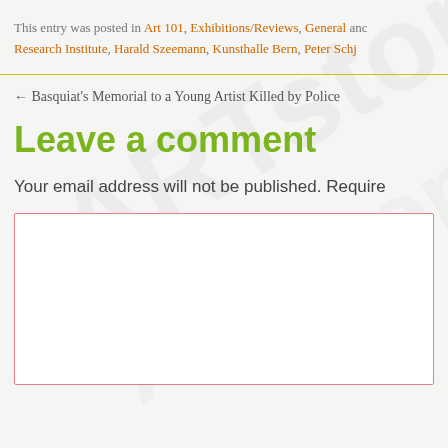This entry was posted in Art 101, Exhibitions/Reviews, General and Research Institute, Harald Szeemann, Kunsthalle Bern, Peter Schj…
← Basquiat's Memorial to a Young Artist Killed by Police
Leave a comment
Your email address will not be published. Required…
[Figure (other): Empty comment text area input box with pink/red border]